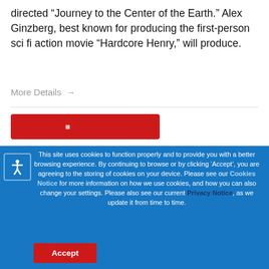directed "Journey to the Center of the Earth." Alex Ginzberg, best known for producing the first-person sci fi action movie "Hardcore Henry," will produce.
More Details →
[Figure (screenshot): Red button partially visible at bottom of white section]
This site uses cookies to function properly and to provide you with a better browsing experience. By continuing to browse or by clicking 'Accept', you are agreeing to the storing of cookies on your device. Please see our Cookies Notice for more information on how we use cookies, and how you can also change your settings. Please also see our current Privacy Notice, as we update it from time to time.
Accept